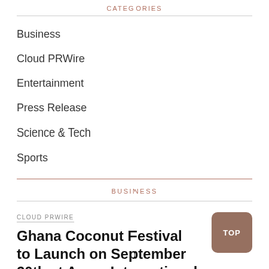CATEGORIES
Business
Cloud PRWire
Entertainment
Press Release
Science & Tech
Sports
BUSINESS
CLOUD PRWIRE
Ghana Coconut Festival to Launch on September 20th at Accra International